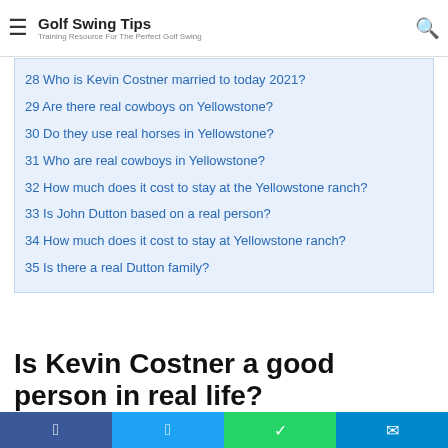Golf Swing Tips – Training Resource For The Perfect Golf Swing
28 Who is Kevin Costner married to today 2021?
29 Are there real cowboys on Yellowstone?
30 Do they use real horses in Yellowstone?
31 Who are real cowboys in Yellowstone?
32 How much does it cost to stay at the Yellowstone ranch?
33 Is John Dutton based on a real person?
34 How much does it cost to stay at Yellowstone ranch?
35 Is there a real Dutton family?
Is Kevin Costner a good person in real life?
Kevin Costner is 'the nicest, most generous' actor "He's
Facebook Twitter WhatsApp Telegram